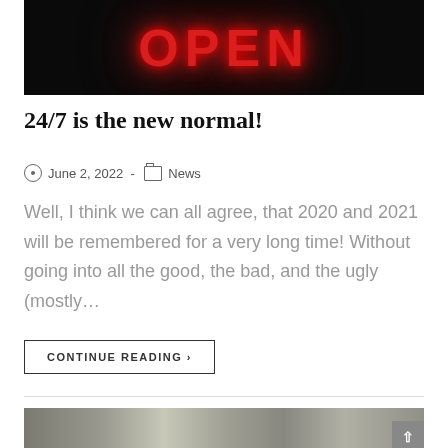[Figure (photo): Neon 'OPEN' sign glowing red on dark background]
24/7 is the new normal!
June 2, 2022  -  News
Well, I think we can all agree, that 2020 and 2021 will be remembered for a very long time! Without going into all the good, the bad, and the ugly (mostly…
CONTINUE READING ›
[Figure (photo): Two people in a bright cafe or office space with large windows and greenery outside]